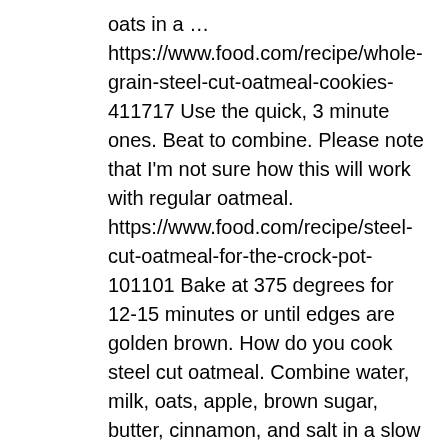oats in a … https://www.food.com/recipe/whole-grain-steel-cut-oatmeal-cookies-411717 Use the quick, 3 minute ones. Beat to combine. Please note that I'm not sure how this will work with regular oatmeal. https://www.food.com/recipe/steel-cut-oatmeal-for-the-crock-pot-101101 Bake at 375 degrees for 12-15 minutes or until edges are golden brown. How do you cook steel cut oatmeal. Combine water, milk, oats, apple, brown sugar, butter, cinnamon, and salt in a slow cooker; mix well. Hip Recipe Tips: I would stick with steel cut oats for this recipe rather than rolled oats. Be sure to use quick-cooking steel-cut oats … Stir gently to combine and cook for an … Seond time to make this recipe; will make i again. Enjoy hot with any … Steel cut oats are made from oat kernels that have been chopped into thick pieces. Total Carbohydrate The original recipe from the